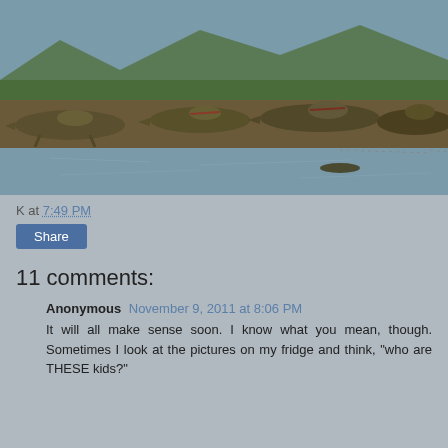[Figure (photo): Photo of several crocodiles basking on a muddy riverbank, with water in the foreground and green vegetation and hills in the background.]
K at 7:49 PM
Share
11 comments:
Anonymous November 9, 2011 at 8:06 PM
It will all make sense soon. I know what you mean, though. Sometimes I look at the pictures on my fridge and think, "who are THESE kids?"